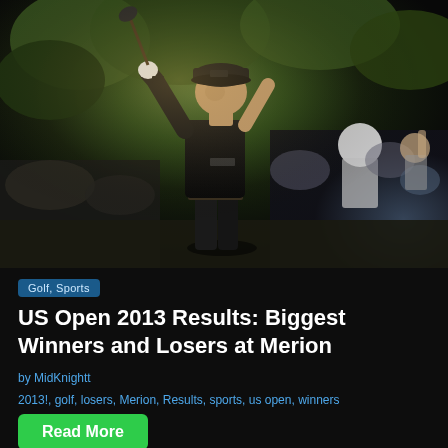[Figure (photo): A golfer (Phil Mickelson) in a black outfit and cap, mid-swing with a golf club raised above his head, with a crowd of spectators visible in the background at what appears to be a golf tournament.]
Golf, Sports
US Open 2013 Results: Biggest Winners and Losers at Merion
by MidKnightt
2013!, golf, losers, Merion, Results, sports, us open, winners
Read More